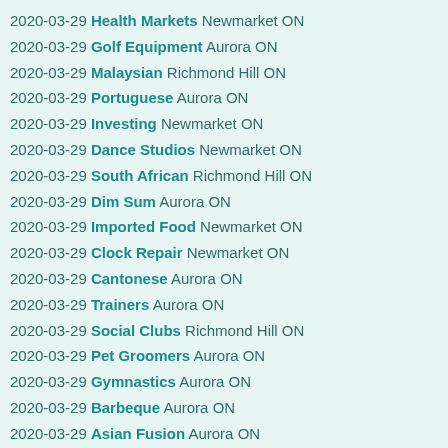2020-03-29 Health Markets Newmarket ON
2020-03-29 Golf Equipment Aurora ON
2020-03-29 Malaysian Richmond Hill ON
2020-03-29 Portuguese Aurora ON
2020-03-29 Investing Newmarket ON
2020-03-29 Dance Studios Newmarket ON
2020-03-29 South African Richmond Hill ON
2020-03-29 Dim Sum Aurora ON
2020-03-29 Imported Food Newmarket ON
2020-03-29 Clock Repair Newmarket ON
2020-03-29 Cantonese Aurora ON
2020-03-29 Trainers Aurora ON
2020-03-29 Social Clubs Richmond Hill ON
2020-03-29 Pet Groomers Aurora ON
2020-03-29 Gymnastics Aurora ON
2020-03-29 Barbeque Aurora ON
2020-03-29 Asian Fusion Aurora ON
2020-03-29 Japanese Aurora ON
2020-03-29 Waffles Newmarket ON
2020-03-29 Print Media Newmarket ON
2020-03-29 Massage Aurora ON
2020-03-29 Watches Newmarket ON